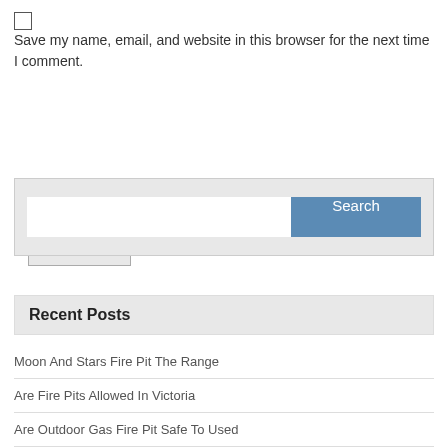[Figure (other): Checkbox input (unchecked)]
Save my name, email, and website in this browser for the next time I comment.
[Figure (other): Post Comment button]
[Figure (other): Search widget with text input and Search button]
Recent Posts
Moon And Stars Fire Pit The Range
Are Fire Pits Allowed In Victoria
Are Outdoor Gas Fire Pit Safe To Used
Hampton Bay Outdoor Fire Pit Woodspire